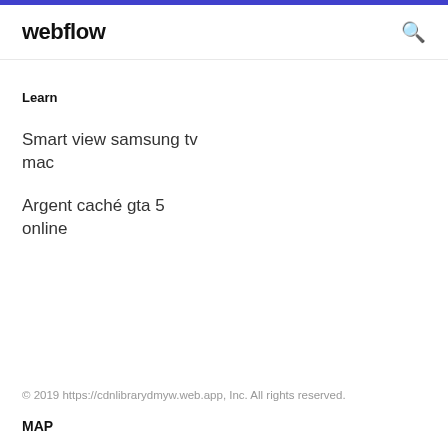webflow
Learn
Smart view samsung tv mac
Argent caché gta 5 online
© 2019 https://cdnlibrarydmyw.web.app, Inc. All rights reserved.
MAP